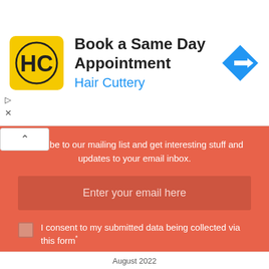[Figure (other): Hair Cuttery advertisement banner with logo (HC in yellow circle), title 'Book a Same Day Appointment', subtitle 'Hair Cuttery', and a blue diamond navigation arrow icon]
Subscribe to our mailing list and get interesting stuff and updates to your email inbox.
Enter your email here
I consent to my submitted data being collected via this form*
SIGN UP NOW
The form collects name and email so that we can add you to our newsletter list for project updates. Checkout our privacy policy for the full story on how we protect and manage your submitted data!
August 2022